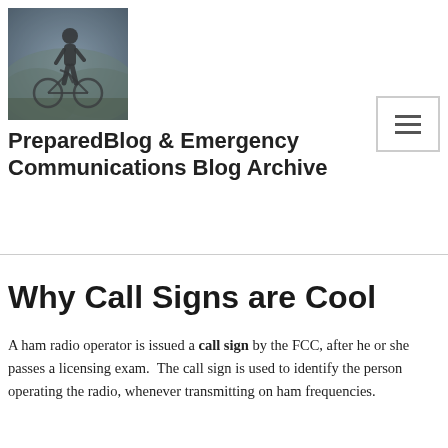[Figure (photo): A silhouette of a person standing with a bicycle in a misty, blurred outdoor setting]
[Figure (other): Hamburger menu button icon (three horizontal lines) in a bordered box]
PreparedBlog & Emergency Communications Blog Archive
Why Call Signs are Cool
A ham radio operator is issued a call sign by the FCC, after he or she passes a licensing exam.  The call sign is used to identify the person operating the radio, whenever transmitting on ham frequencies.